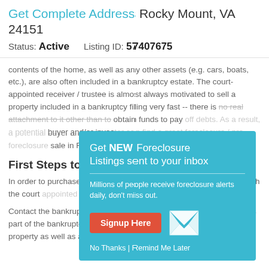Get Complete Address Rocky Mount, VA 24151
Status: Active   Listing ID: 57407675
contents of the home, as well as any other assets (e.g. cars, boats, etc.), are also often included in a bankruptcy estate. The court-appointed receiver / trustee is almost always motivated to sell a property included in a bankruptcy filing very fast -- there is no real attachment to it other than to obtain funds to pay off debts. As a result, a potential buyer and/or investor can find a great foreclosure / pre-foreclosure sale in Rocky Mount
First Steps to B…
In order to purchase a foreclosure in bankruptcy, you should approach the court appointed receiver/trustee to negotiate a deal.
Contact the bankruptcy trustee to find out if the property is for sale as part of the bankruptcy.  If so, request the terms for the sale of the property as well as any additional information regarding the conditions of the property. This will help
[Figure (infographic): Popup overlay on teal/cyan background promoting 'Get NEW Foreclosure Listings sent to your inbox'. Contains subtitle text 'Millions of people receive foreclosure alerts daily, don't miss out.' with a red 'Signup Here' button, envelope icon, and links 'No Thanks | Remind Me Later'.]